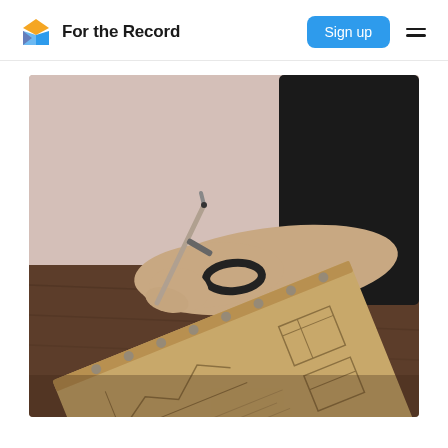For the Record — Sign up
[Figure (photo): A person wearing a black shirt writing in a spiral-bound kraft paper notebook on a wooden table, holding a pen. Notebook shows hand-drawn sketches/wireframes. Dark moody photo.]